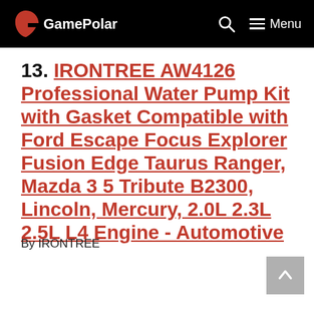GamePolar | Menu
13. IRONTREE AW4126 Professional Water Pump Kit with Gasket Compatible with Ford Escape Focus Explorer Fusion Edge Taurus Ranger, Mazda 3 5 Tribute B2300, Lincoln, Mercury, 2.0L 2.3L 2.5L L4 Engine - Automotive
By IRONTREE